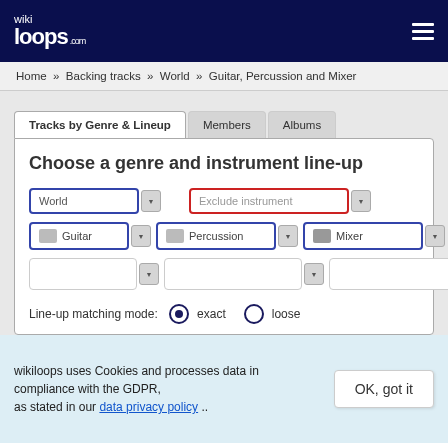[Figure (logo): wikiloops.com logo in white on dark navy header]
Home » Backing tracks » World » Guitar, Percussion and Mixer
Tracks by Genre & Lineup | Members | Albums
Choose a genre and instrument line-up
World [dropdown] | Exclude instrument [dropdown]
Guitar [dropdown] | Percussion [dropdown] | Mixer [dropdown]
Line-up matching mode: (●) exact  (○) loose
wikiloops uses Cookies and processes data in compliance with the GDPR, as stated in our data privacy policy ..